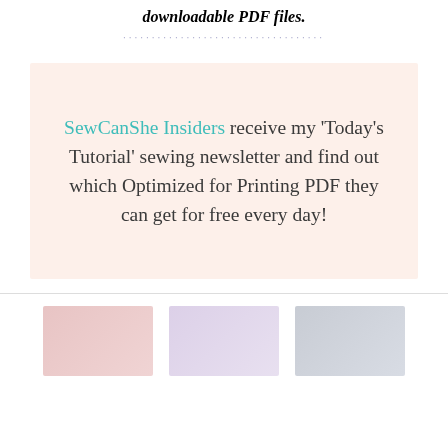downloadable PDF files.
SewCanShe Insiders receive my 'Today's Tutorial' sewing newsletter and find out which Optimized for Printing PDF they can get for free every day!
[Figure (photo): Three small thumbnail images side by side at the bottom of the page showing fabric or sewing-related content in pink, lavender, and gray tones]